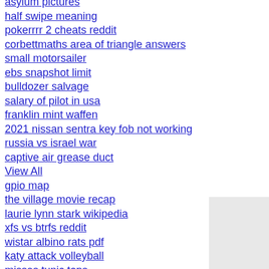asylum pictures
half swipe meaning
pokerrrr 2 cheats reddit
corbettmaths area of triangle answers
small motorsailer
ebs snapshot limit
bulldozer salvage
salary of pilot in usa
franklin mint waffen
2021 nissan sentra key fob not working
russia vs israel war
captive air grease duct
View All
gpio map
the village movie recap
laurie lynn stark wikipedia
xfs vs btrfs reddit
wistar albino rats pdf
katy attack volleyball
misses tunic tops
instalar wsl 2 windows 11
playstation us
affirm salary blind
mapbox getlayoutproperty
slider card bootstrap